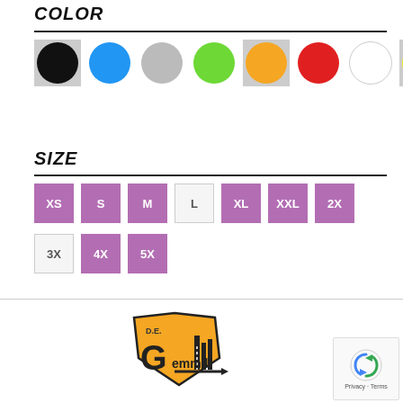COLOR
[Figure (other): Color swatches: black (selected), blue, gray, green, orange (selected), red, white, yellow (selected)]
SIZE
[Figure (other): Size selector buttons: XS, S, M (purple/active), L (light/inactive), XL, XXL, 2X (purple/active), 3X (inactive), 4X, 5X (purple/active)]
[Figure (logo): D.E. Gemmill logo with diamond road sign shape and city skyline]